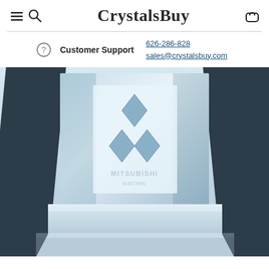CrystalsBuy
Customer Support 626-286-828 sales@crystalsbuy.com
[Figure (photo): Close-up photograph of a crystal glass award trophy with the Mitsubishi logo and three-diamond emblem engraved on it, set against a light blue background]